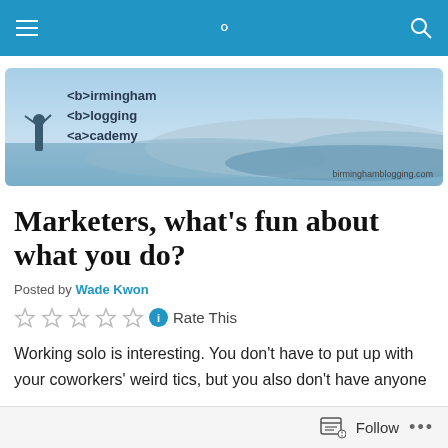Navigation bar with hamburger menu and search icon
[Figure (logo): Birmingham Blogging Academy banner with foggy landscape background and text: <b>irmingham <b>logging <a>cademy. URL: birminghamblogging.com]
Marketers, what's fun about what you do?
Posted by Wade Kwon
Rate This (5 empty stars with info icon)
Working solo is interesting. You don't have to put up with your coworkers' weird tics, but you also don't have anyone
Follow ...